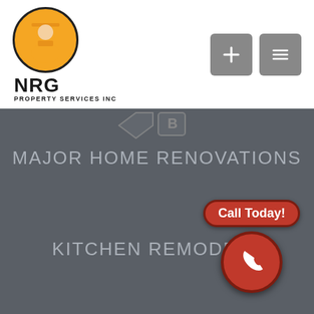[Figure (logo): NRG Property Services Inc logo with orange circle containing a worker silhouette, bold NRG text and PROPERTY SERVICES INC subtitle]
[Figure (infographic): Two gray navigation buttons (plus icon and list icon) in the top right corner]
MAJOR HOME RENOVATIONS
KITCHEN REMODELS
[Figure (infographic): Call Today! badge button (red rounded rectangle) above a red circle with white phone icon]